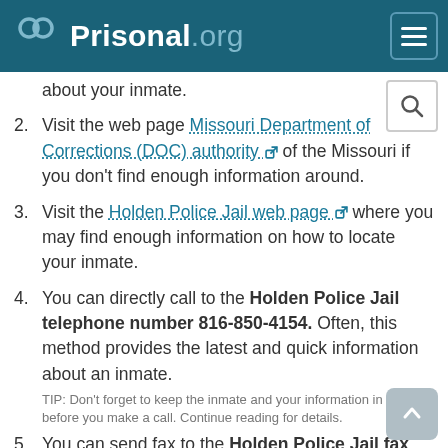Prisonal.org
about your inmate.
Visit the web page Missouri Department of Corrections (DOC) authority of the Missouri if you don't find enough information around.
Visit the Holden Police Jail web page where you may find enough information on how to locate your inmate.
You can directly call to the Holden Police Jail telephone number 816-850-4154. Often, this method provides the latest and quick information about an inmate. TIP: Don't forget to keep the inmate and your information in hand before you make a call. Continue reading for details.
You can send fax to the Holden Police Jail fax number 816-732-6550. But, this may take a long